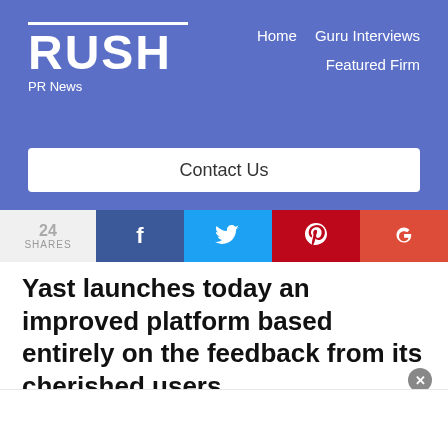RUSH PR News | Home | Guru Interviews | Featured Firm | Contact Us
[Figure (logo): RUSH PR News logo with white text on blue background and navigation links for Home, Guru Interviews, Featured Firm, and Contact Us button]
Yast launches today an improved platform based entirely on the feedback from its cherished users
Yast, a Norwegian startup committed to making time tracker lovable, saves no time and efforts to